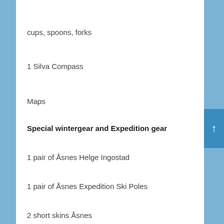cups, spoons, forks
1 Silva Compass
Maps
Special wintergear and Expedition gear
1 pair of Åsnes Helge Ingostad
1 pair of Åsnes Expedition Ski Poles
2 short skins Åsnes
1 long skins Åsnes